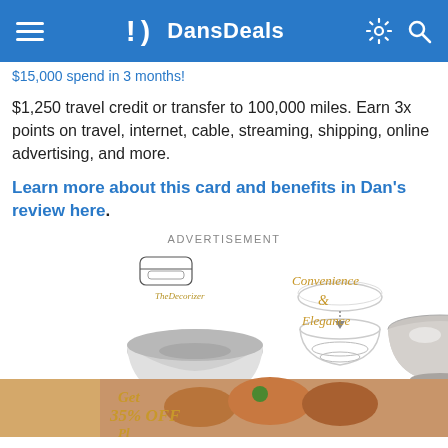DansDeals
$15,000 spend in 3 months!
$1,250 travel credit or transfer to 100,000 miles. Earn 3x points on travel, internet, cable, streaming, shipping, online advertising, and more.
Learn more about this card and benefits in Dan's review here.
ADVERTISEMENT
[Figure (photo): Advertisement for TheDecorizer showing stainless steel bowls with text 'Convenience & Elegance' and 'Get 35% OFF']